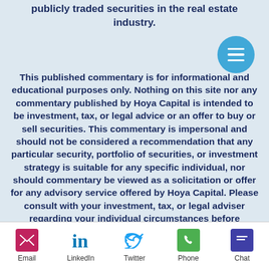publicly traded securities in the real estate industry.
This published commentary is for informational and educational purposes only. Nothing on this site nor any commentary published by Hoya Capital is intended to be investment, tax, or legal advice or an offer to buy or sell securities. This commentary is impersonal and should not be considered a recommendation that any particular security, portfolio of securities, or investment strategy is suitable for any specific individual, nor should commentary be viewed as a solicitation or offer for any advisory service offered by Hoya Capital. Please consult with your investment, tax, or legal adviser regarding your individual circumstances before investing.
Email  LinkedIn  Twitter  Phone  Chat